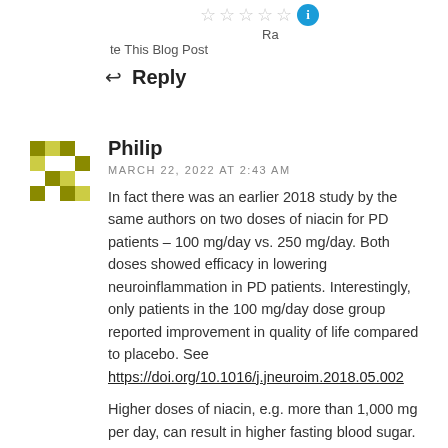[Figure (other): Star rating widget with 5 empty stars and a blue circle icon, with 'Ra' label and 'te This Blog Post' text]
Reply
[Figure (other): Pixel avatar icon for user Philip (green/olive colored blocky avatar)]
Philip
MARCH 22, 2022 AT 2:43 AM
In fact there was an earlier 2018 study by the same authors on two doses of niacin for PD patients – 100 mg/day vs. 250 mg/day. Both doses showed efficacy in lowering neuroinflammation in PD patients. Interestingly, only patients in the 100 mg/day dose group reported improvement in quality of life compared to placebo. See https://doi.org/10.1016/j.jneuroim.2018.05.002
Higher doses of niacin, e.g. more than 1,000 mg per day, can result in higher fasting blood sugar.